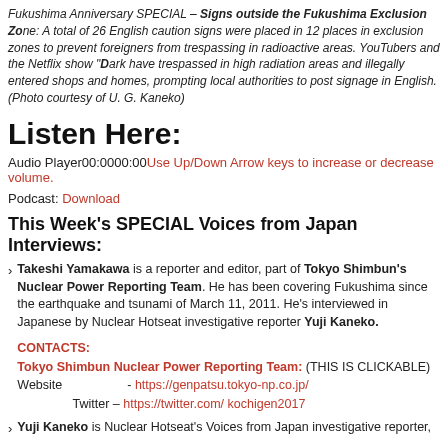Fukushima Anniversary SPECIAL – Signs outside the Fukushima Exclusion Zone: A total of 26 English caution signs were placed in 12 places in exclusion zones to prevent foreigners from trespassing in radioactive areas. YouTubers and the Netflix show "Dark Tourism" have trespassed in high radiation areas and illegally entered shops and homes, prompting local authorities to post signage in English.
(Photo courtesy of U. G. Kaneko)
Listen Here:
Audio Player00:0000:00Use Up/Down Arrow keys to increase or decrease volume.
Podcast: Download
This Week's SPECIAL Voices from Japan Interviews:
Takeshi Yamakawa is a reporter and editor, part of Tokyo Shimbun's Nuclear Power Reporting Team. He has been covering Fukushima since the earthquake and tsunami of March 11, 2011. He's interviewed in Japanese by Nuclear Hotseat investigative reporter Yuji Kaneko.
CONTACTS:
Tokyo Shimbun Nuclear Power Reporting Team: (THIS IS CLICKABLE)
Website　　　　　- https://genpatsu.tokyo-np.co.jp/
　　　　 Twitter – https://twitter.com/ kochigen2017
Yuji Kaneko is Nuclear Hotseat's Voices from Japan investigative reporter,